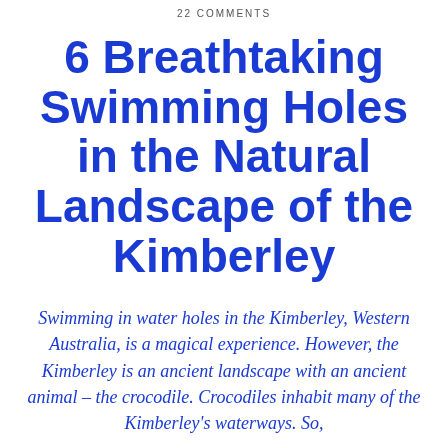22 COMMENTS
6 Breathtaking Swimming Holes in the Natural Landscape of the Kimberley
Swimming in water holes in the Kimberley, Western Australia, is a magical experience. However, the Kimberley is an ancient landscape with an ancient animal – the crocodile. Crocodiles inhabit many of the Kimberley's waterways. So,